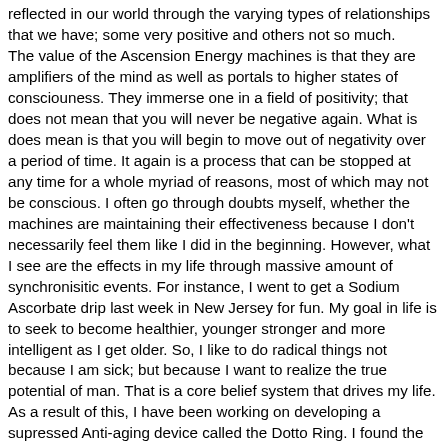reflected in our world through the varying types of relationships that we have; some very positive and others not so much. The value of the Ascension Energy machines is that they are amplifiers of the mind as well as portals to higher states of consciouness. They immerse one in a field of positivity; that does not mean that you will never be negative again. What is does mean is that you will begin to move out of negativity over a period of time. It again is a process that can be stopped at any time for a whole myriad of reasons, most of which may not be conscious. I often go through doubts myself, whether the machines are maintaining their effectiveness because I don't necessarily feel them like I did in the beginning. However, what I see are the effects in my life through massive amount of synchronisitic events. For instance, I went to get a Sodium Ascorbate drip last week in New Jersey for fun. My goal in life is to seek to become healthier, younger stronger and more intelligent as I get older. So, I like to do radical things not because I am sick; but because I want to realize the true potential of man. That is a core belief system that drives my life. As a result of this, I have been working on developing a supressed Anti-aging device called the Dotto Ring. I found the information on the